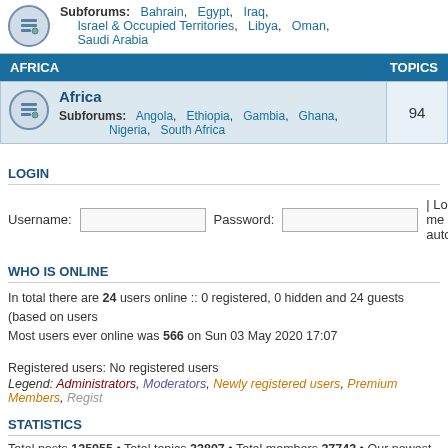Subforums: Bahrain, Egypt, Iraq, Israel & Occupied Territories, Libya, Oman, Saudi Arabia
AFRICA — TOPICS
Africa — Subforums: Angola, Ethiopia, Gambia, Ghana, Nigeria, South Africa — 94 topics
LOGIN
Username: [input] Password: [input] | Log me on autom
WHO IS ONLINE
In total there are 24 users online :: 0 registered, 0 hidden and 24 guests (based on users
Most users ever online was 566 on Sun 03 May 2020 17:07
Registered users: No registered users
Legend: Administrators, Moderators, Newly registered users, Premium Members, Regist
STATISTICS
Total posts 125055 • Total topics 22807 • Total members 37743 • Our newest member G
Board index — The team •
Powered by phpBB® Forum Software © phpBB Gr